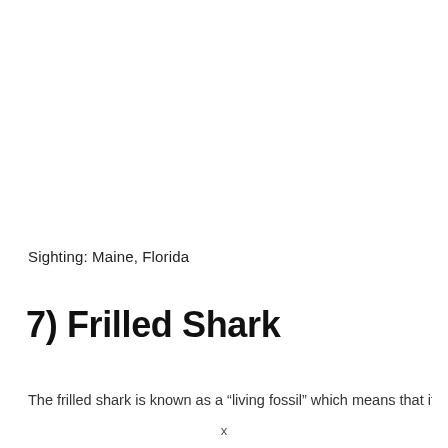Sighting: Maine, Florida
7) Frilled Shark
The frilled shark is known as a “living fossil” which means that it
x